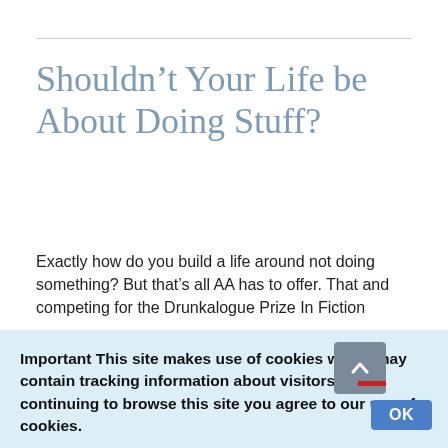Shouldn’t Your Life be About Doing Stuff?
Exactly how do you build a life around not doing something? But that’s all AA has to offer. That and competing for the Drunkalogue Prize In Fiction
Important This site makes use of cookies which may contain tracking information about visitors. By continuing to browse this site you agree to our use of cookies.